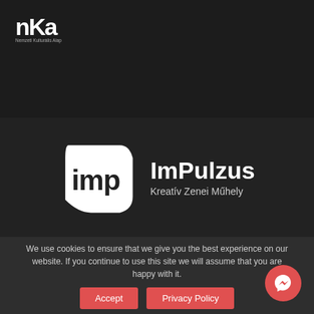[Figure (logo): NKA (Nemzeti Kulturális Alap) logo - white stylized letters on dark background with subtitle]
[Figure (logo): ImPulzus Kreatív Zenei Műhely logo - white play-button shaped icon with wavy 'imp' text and brand name]
We use cookies to ensure that we give you the best experience on our website. If you continue to use this site we will assume that you are happy with it.
Accept
Privacy Policy